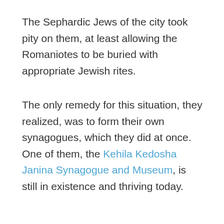The Sephardic Jews of the city took pity on them, at least allowing the Romaniotes to be buried with appropriate Jewish rites.
The only remedy for this situation, they realized, was to form their own synagogues, which they did at once. One of them, the Kehila Kedosha Janina Synagogue and Museum, is still in existence and thriving today.